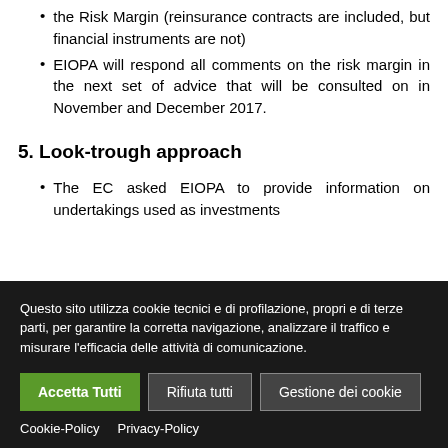the Risk Margin (reinsurance contracts are included, but financial instruments are not)
EIOPA will respond all comments on the risk margin in the next set of advice that will be consulted on in November and December 2017.
5. Look-trough approach
The EC asked EIOPA to provide information on undertakings used as investments
Questo sito utilizza cookie tecnici e di profilazione, propri e di terze parti, per garantire la corretta navigazione, analizzare il traffico e misurare l'efficacia delle attività di comunicazione.